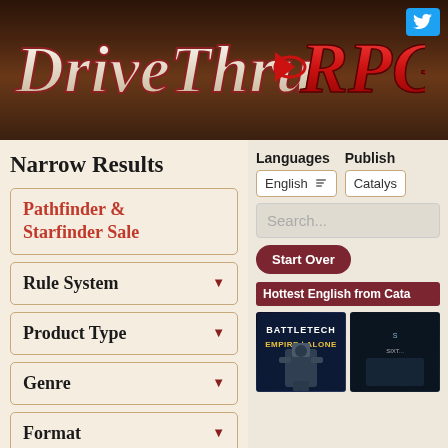[Figure (logo): DriveThruRPG logo on dark brown textured background with Twitter bird icon button in top right]
Narrow Results
Pathfinder & Starfinder Sale
Rule System
Product Type
Genre
Format
Languages
Languages
English
Publish
Catalys
Search...
Start Over
Hottest English from Cata
[Figure (photo): BattleTech Empire Alone product cover image showing a mech warrior]